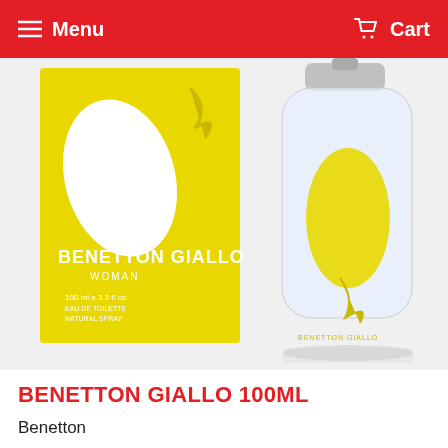Menu  Cart
[Figure (photo): Benetton Giallo Woman 100ml perfume product photo showing yellow box packaging and clear glass bottle with yellow logo design]
BENETTON GIALLO 100ML
Benetton